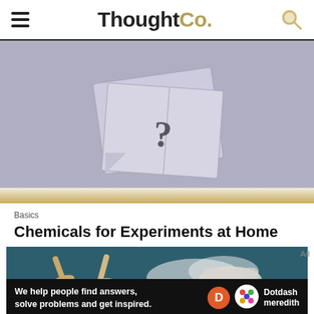ThoughtCo.
[Figure (photo): An open book or envelope with a question mark drawn on white paper, on a gray surface]
Basics
Chemicals for Experiments at Home
[Figure (photo): Wooden spoons and a mortar with white powder/salt on a dark blue-green surface]
We help people find answers, solve problems and get inspired.
[Figure (logo): Dotdash Meredith logo with orange D circle and colorful hexagonal pattern]